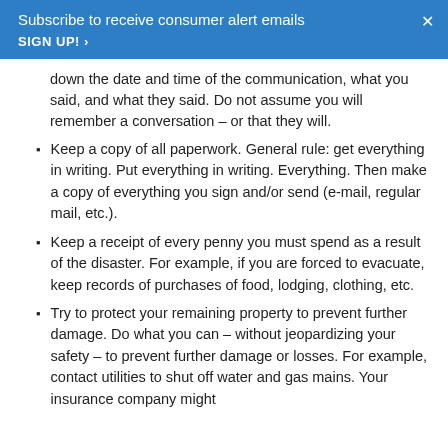Subscribe to receive consumer alert emails
SIGN UP! >
down the date and time of the communication, what you said, and what they said. Do not assume you will remember a conversation – or that they will.
Keep a copy of all paperwork. General rule: get everything in writing. Put everything in writing. Everything. Then make a copy of everything you sign and/or send (e-mail, regular mail, etc.).
Keep a receipt of every penny you must spend as a result of the disaster. For example, if you are forced to evacuate, keep records of purchases of food, lodging, clothing, etc.
Try to protect your remaining property to prevent further damage. Do what you can – without jeopardizing your safety – to prevent further damage or losses. For example, contact utilities to shut off water and gas mains. Your insurance company might